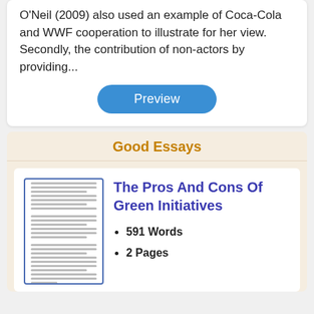O'Neil (2009) also used an example of Coca-Cola and WWF cooperation to illustrate for her view. Secondly, the contribution of non-actors by providing...
Preview
Good Essays
The Pros And Cons Of Green Initiatives
591 Words
2 Pages